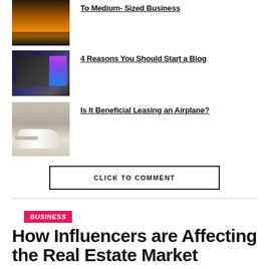[Figure (photo): Sunset landscape with mountains and orange sky]
To Medium-Sized Business
[Figure (photo): Person typing on laptop with colorful screen]
4 Reasons You Should Start a Blog
[Figure (photo): Small airplane in a hangar]
Is It Beneficial Leasing an Airplane?
CLICK TO COMMENT
BUSINESS
How Influencers are Affecting the Real Estate Market